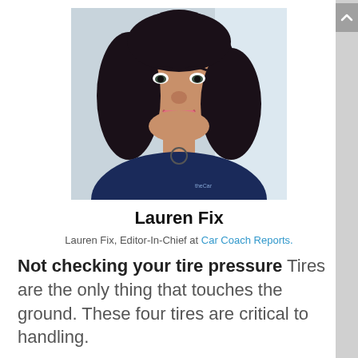[Figure (photo): Professional headshot of Lauren Fix, a woman with dark curly hair, smiling, wearing a dark navy blue shirt with a circular pendant necklace. She appears to be the Car Coach, as indicated by text on her shirt.]
Lauren Fix
Lauren Fix, Editor-In-Chief at Car Coach Reports.
Not checking your tire pressure Tires are the only thing that touches the ground. These four tires are critical to handling.